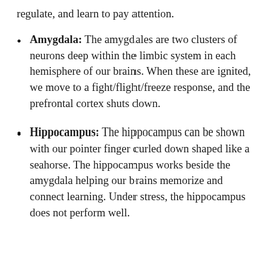regulate, and learn to pay attention.
Amygdala: The amygdales are two clusters of neurons deep within the limbic system in each hemisphere of our brains. When these are ignited, we move to a fight/flight/freeze response, and the prefrontal cortex shuts down.
Hippocampus: The hippocampus can be shown with our pointer finger curled down shaped like a seahorse. The hippocampus works beside the amygdala helping our brains memorize and connect learning. Under stress, the hippocampus does not perform well.